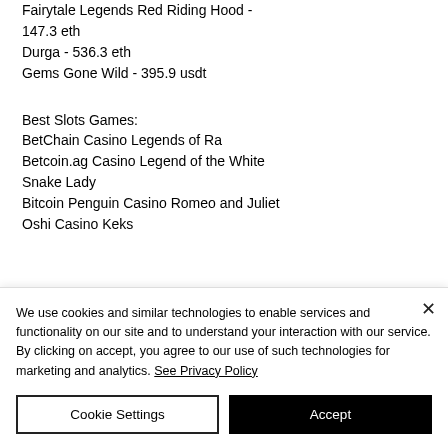Fairytale Legends Red Riding Hood - 147.3 eth
Durga - 536.3 eth
Gems Gone Wild - 395.9 usdt
Best Slots Games:
BetChain Casino Legends of Ra
Betcoin.ag Casino Legend of the White Snake Lady
Bitcoin Penguin Casino Romeo and Juliet
Oshi Casino Keks
We use cookies and similar technologies to enable services and functionality on our site and to understand your interaction with our service. By clicking on accept, you agree to our use of such technologies for marketing and analytics. See Privacy Policy